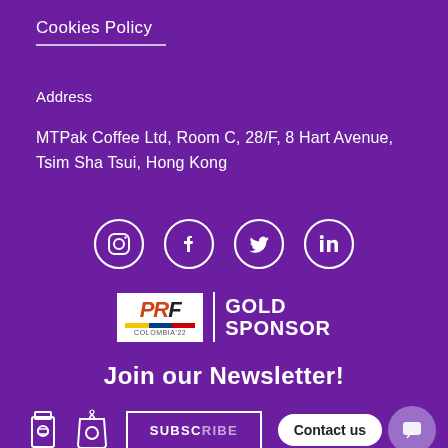Cookies Policy
Address
MTPak Coffee Ltd, Room C, 28/F, 8 Hart Avenue, Tsim Sha Tsui, Hong Kong
[Figure (illustration): Four social media icons in white circles: Instagram, Facebook, Twitter, LinkedIn]
[Figure (logo): PRF Colombia 22 Gold Sponsor badge]
Join our Newsletter!
[Figure (illustration): Two coffee-related icons on the left, a SUBSCRIBE button in the center, a Contact us bubble and chat button on the right]